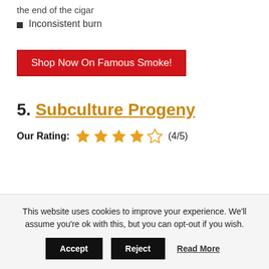the end of the cigar
Inconsistent burn
Shop Now On Famous Smoke!
5. Subculture Progeny
Our Rating: ★★★★☆ (4/5)
This website uses cookies to improve your experience. We'll assume you're ok with this, but you can opt-out if you wish.